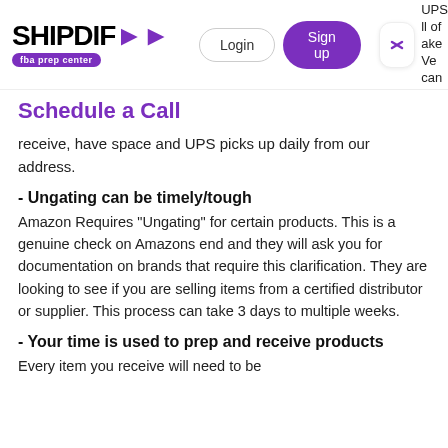[Figure (logo): SHIPDIF fba prep center logo with purple arrow graphic]
Login | Sign up | UPS | all of | ake | We can
Schedule a Call
receive, have space and UPS picks up daily from our address.
- Ungating can be timely/tough
Amazon Requires "Ungating" for certain products. This is a genuine check on Amazons end and they will ask you for documentation on brands that require this clarification. They are looking to see if you are selling items from a certified distributor or supplier. This process can take 3 days to multiple weeks.
- Your time is used to prep and receive products
Every item you receive will need to be